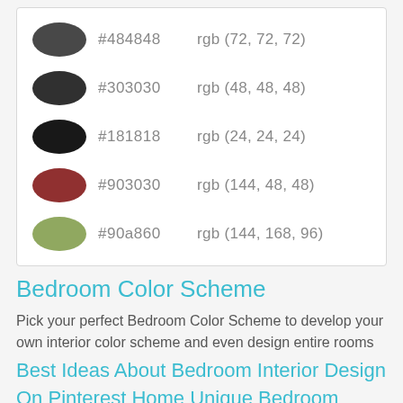| Color Swatch | Hex | RGB |
| --- | --- | --- |
| oval #484848 | #484848 | rgb (72, 72, 72) |
| oval #303030 | #303030 | rgb (48, 48, 48) |
| oval #181818 | #181818 | rgb (24, 24, 24) |
| oval #903030 | #903030 | rgb (144, 48, 48) |
| oval #90a860 | #90a860 | rgb (144, 168, 96) |
Bedroom Color Scheme
Pick your perfect Bedroom Color Scheme to develop your own interior color scheme and even design entire rooms
Best Ideas About Bedroom Interior Design On Pinterest Home Unique Bedroom Decoration Design Lighten Color Scheme
| Color | Lighten Color |
| --- | --- |